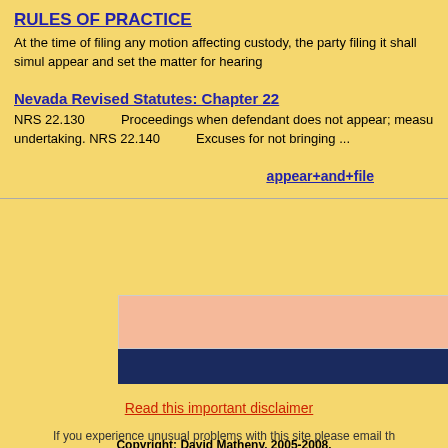RULES OF PRACTICE
At the time of filing any motion affecting custody, the party filing it shall simul appear and set the matter for hearing
Nevada Revised Statutes: Chapter 22
NRS 22.130        Proceedings when defendant does not appear; measu undertaking. NRS 22.140        Excuses for not bringing ...
appear+and+file
[Figure (other): Two horizontal colored bars: salmon/peach bar on top, dark navy blue bar below, forming a decorative UI element]
Read this important disclaimer
If you experience unusual problems with this site please email th
Copyright: David Matheny, 2005-2008.